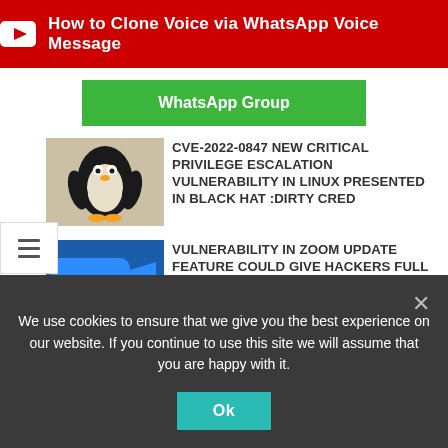[Figure (screenshot): YouTube red banner with play icon and text: How to Clone Voice via WhatsApp Voice Message]
[Figure (screenshot): Green WhatsApp Group button]
[Figure (photo): Penguin thumbnail image for CVE news article]
CVE-2022-0847 NEW CRITICAL PRIVILEGE ESCALATION VULNERABILITY IN LINUX PRESENTED IN BLACK HAT :DIRTY CRED
[Figure (screenshot): Zoom logo on blue background thumbnail]
VULNERABILITY IN ZOOM UPDATE FEATURE COULD GIVE HACKERS FULL ACCESS TO YOUR MACOS
[Figure (photo): WinRAR/UnRAR archive icon on purple background]
VULENERBLITY IN UNRAR AFFECTS LINUX & UNIX SERVERS IS BEING ACTIVELY EXPLOITED BY THREAT ACTORS
We use cookies to ensure that we give you the best experience on our website. If you continue to use this site we will assume that you are happy with it.